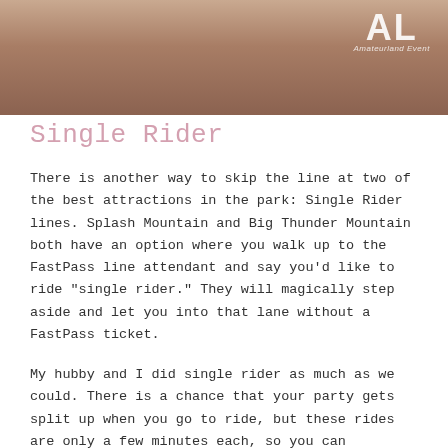[Figure (photo): Close-up photo of hands, brownish background with a logo overlay showing 'AL' letters and 'Amateurland Event' text in white]
Single Rider
There is another way to skip the line at two of the best attractions in the park: Single Rider lines. Splash Mountain and Big Thunder Mountain both have an option where you walk up to the FastPass line attendant and say you’d like to ride “single rider.” They will magically step aside and let you into that lane without a FastPass ticket.
My hubby and I did single rider as much as we could. There is a chance that your party gets split up when you go to ride, but these rides are only a few minutes each, so you can experience the ride and meet up after in the exit gift shop. At bare minimum,